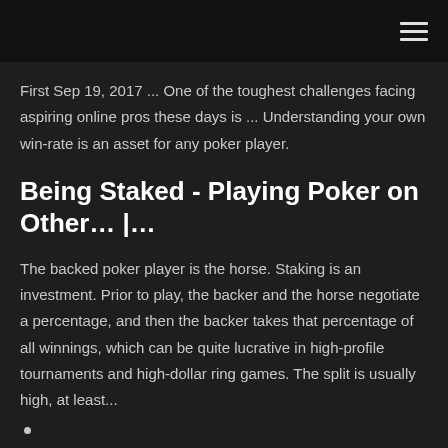navigation bar with hamburger menu
First Sep 19, 2017 ... One of the toughest challenges facing aspiring online pros these days is ... Understanding your own win-rate is an asset for any poker player.
Being Staked - Playing Poker on Other… |…
The backed poker player is the horse. Staking is an investment. Prior to play, the backer and the horse negotiate a percentage, and then the backer takes that percentage of all winnings, which can be quite lucrative in high-profile tournaments and high-dollar ring games. The split is usually high, at least...